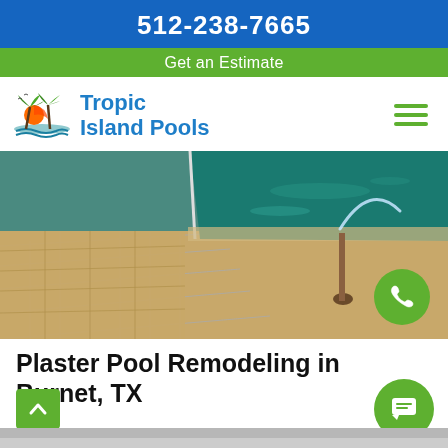512-238-7665
Get an Estimate
[Figure (logo): Tropic Island Pools logo with palm tree and sunset icon]
Plaster Pool Remodeling in Burnet, TX
[Figure (photo): Swimming pool with stone tile surround and water fountain feature]